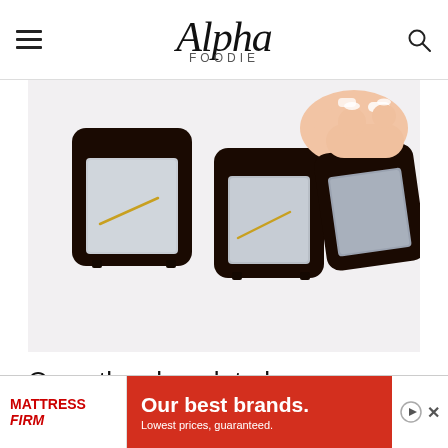Alpha Foodie
[Figure (photo): Three dark chocolate-coated ice cubes on a white surface; a hand picks up the rightmost one, showing the chocolate shell being peeled away from the ice.]
Once the chocolate has hardened, you can remove it from the ice cube
[Figure (infographic): Advertisement banner for Mattress Firm with text 'Our best brands. Lowest prices, guaranteed.' on a red background.]